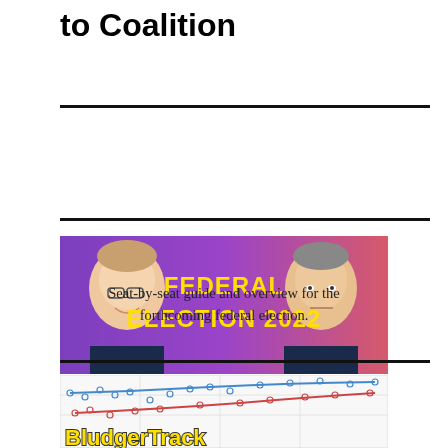to Coalition
[Figure (illustration): Federal Election 2022 banner with Scott Morrison on the left and Anthony Albanese on the right, with yellow bold text 'FEDERAL ELECTION 2022' on a purple-to-pink gradient background]
Seat-by-seat guide and overview for the forthcoming federal election.
[Figure (line-chart): BludgerTrack polling trend chart showing blue and red scatter/line plot with the title 'BludgerTrack' in yellow bold text at the bottom]